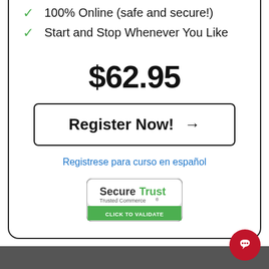100% Online (safe and secure!)
Start and Stop Whenever You Like
$62.95
Register Now! →
Registrese para curso en español
[Figure (logo): SecureTrust Trusted Commerce - Click to Validate badge with green and grey colors]